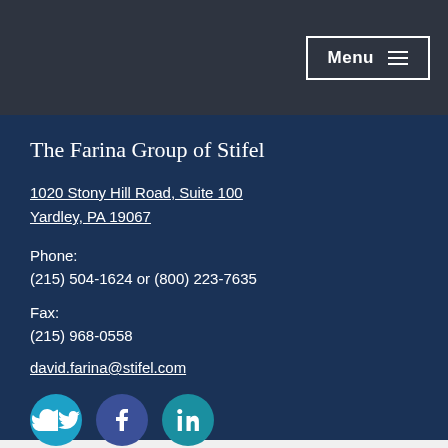Menu ≡
The Farina Group of Stifel
1020 Stony Hill Road, Suite 100
Yardley, PA 19067
Phone:
(215) 504-1624 or (800) 223-7635
Fax:
(215) 968-0558
david.farina@stifel.com
[Figure (infographic): Three social media icons in circles: Twitter (light blue), Facebook (dark blue), LinkedIn (teal)]